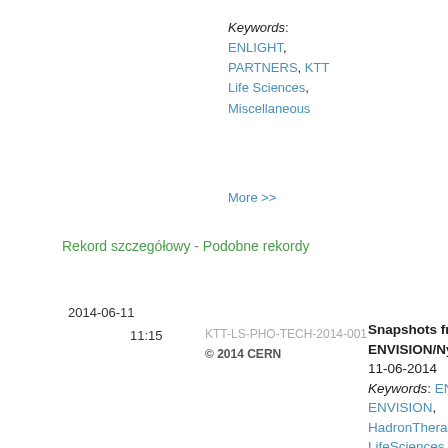Keywords: ENLIGHT, PARTNERS, KTT Life Sciences, Miscellaneous
More >>
Rekord szczegółowy - Podobne rekordy
2014-06-11
11:15
KTT-LS-PHO-TECH-2014-001
© 2014 CERN
Snapshots from ENVISION/Nymus3d animation 11-06-2014 Keywords: ENLIGHT, ENVISION, HadronTherapy, LifeSciences, Nymus3d, animation stills, Industry and